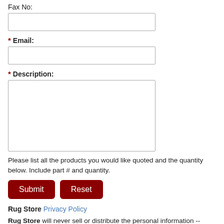Fax No:
* Email:
* Description:
Please list all the products you would like quoted and the quantity below. Include part # and quantity.
Submit | Reset
Rug Store Privacy Policy
Rug Store will never sell or distribute the personal information -- including names, addresses, telephone numbers, credit card information and email addresses -- of